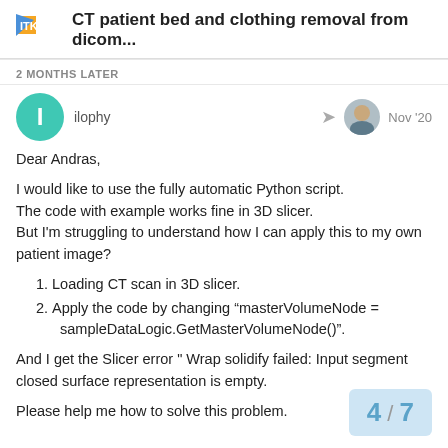CT patient bed and clothing removal from dicom...
2 MONTHS LATER
ilophy  Nov '20
Dear Andras,
I would like to use the fully automatic Python script.
The code with example works fine in 3D slicer.
But I'm struggling to understand how I can apply this to my own patient image?
Loading CT scan in 3D slicer.
Apply the code by changing “masterVolumeNode = sampleDataLogic.GetMasterVolumeNode()”.
And I get the Slicer error " Wrap solidify failed: Input segment closed surface representation is empty.
Please help me how to solve this problem.
4 / 7